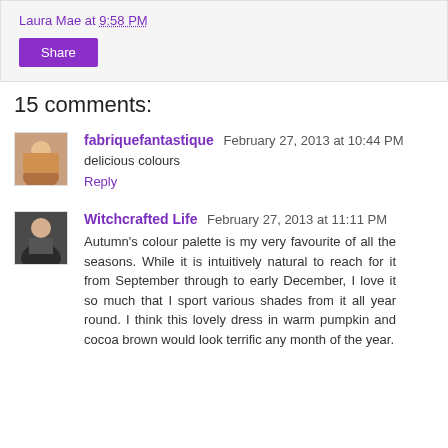Laura Mae at 9:58 PM
[Figure (other): Share button (purple)]
15 comments:
[Figure (photo): Avatar of fabriquefantastique commenter]
fabriquefantastique February 27, 2013 at 10:44 PM
delicious colours
Reply
[Figure (photo): Avatar of Witchcrafted Life commenter]
Witchcrafted Life February 27, 2013 at 11:11 PM
Autumn's colour palette is my very favourite of all the seasons. While it is intuitively natural to reach for it from September through to early December, I love it so much that I sport various shades from it all year round. I think this lovely dress in warm pumpkin and cocoa brown would look terrific any month of the year.